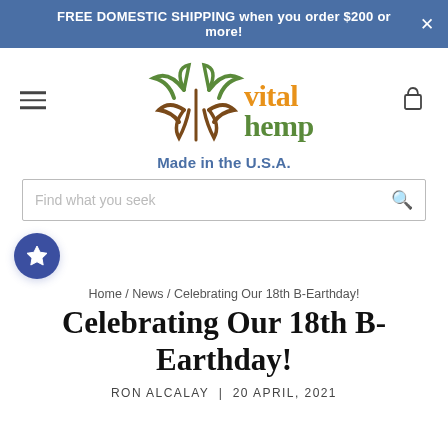FREE DOMESTIC SHIPPING when you order $200 or more! ×
[Figure (logo): Vital Hemp logo with plant motif, 'vital' in orange, 'hemp' in green, with brown hemp leaf design]
Made in the U.S.A.
Find what you seek
Home / News / Celebrating Our 18th B-Earthday!
Celebrating Our 18th B-Earthday!
RON ALCALAY | 20 APRIL, 2021